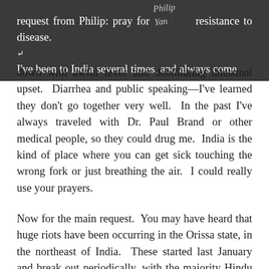request from Philip: pray for resistance to disease. I've been to India several times, and always come
down with awful fever and debilitating intestinal upset. Diarrhea and public speaking—I've learned they don't go together very well. In the past I've always traveled with Dr. Paul Brand or other medical people, so they could drug me. India is the kind of place where you can get sick touching the wrong fork or just breathing the air. I could really use your prayers.
Now for the main request. You may have heard that huge riots have been occurring in the Orissa state, in the northeast of India. These started last January and break out periodically, with the majority Hindu population persecuting Christians.